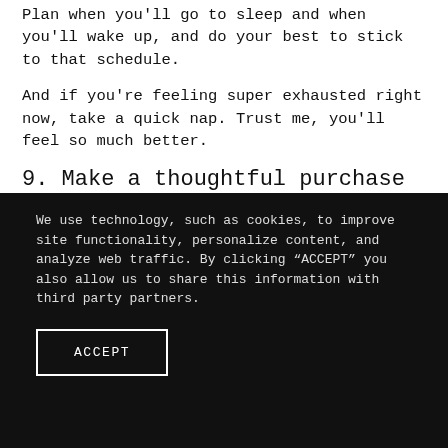Plan when you'll go to sleep and when you'll wake up, and do your best to stick to that schedule.
And if you're feeling super exhausted right now, take a quick nap. Trust me, you'll feel so much better.
9. Make a thoughtful purchase
We use technology, such as cookies, to improve site functionality, personalize content, and analyze web traffic. By clicking “ACCEPT” you also allow us to share this information with third party partners.
ACCEPT